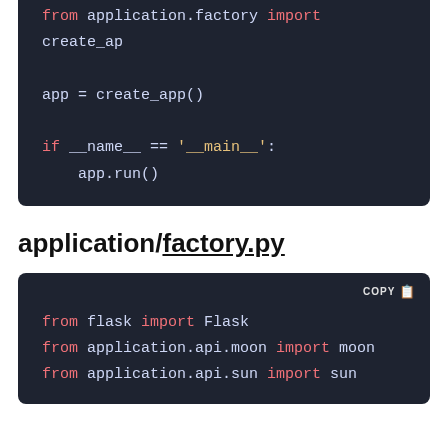[Figure (screenshot): Dark-themed code block (top portion, continuation) showing Python code: from application.factory import create_ap... / app = create_app() / if __name__ == '__main__': / app.run()]
application/factory.py
[Figure (screenshot): Dark-themed code block with COPY button showing Python code: from flask import Flask / from application.api.moon import moon / from application.api.sun import sun]